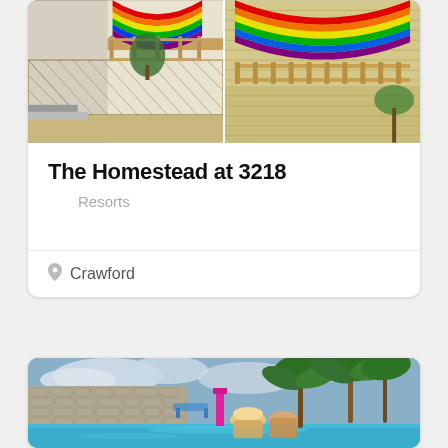[Figure (photo): Two photos side by side of a building exterior with rainbow pride flags draped over wooden deck railings. Left photo shows a lattice fence and sandy ground. Right photo shows a beige/yellow building facade with a balcony.]
The Homestead at 3218
Resorts
Crawford
[Figure (photo): A resort pool scene with two people (one wearing a sun hat) viewed from behind, looking at a turquoise pool surrounded by palm trees, stone walls, and lounge chairs under a cloudy sky.]